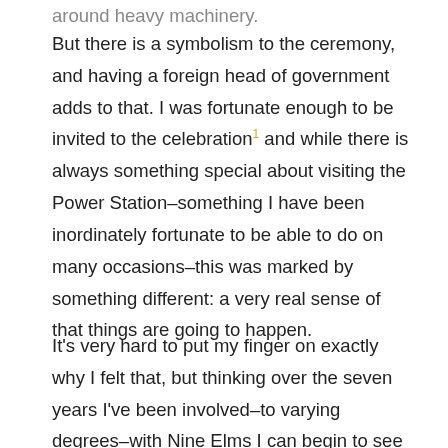around heavy machinery.
But there is a symbolism to the ceremony, and having a foreign head of government adds to that. I was fortunate enough to be invited to the celebration¹ and while there is always something special about visiting the Power Station–something I have been inordinately fortunate to be able to do on many occasions–this was marked by something different: a very real sense of that things are going to happen.
It's very hard to put my finger on exactly why I felt that, but thinking over the seven years I've been involved–to varying degrees–with Nine Elms I can begin to see